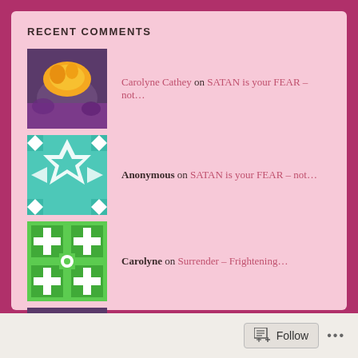RECENT COMMENTS
Carolyne Cathey on SATAN is your FEAR – not…
Anonymous on SATAN is your FEAR – not…
Carolyne on Surrender – Frightening…
Carolyne Cathey on Surrender – Frightening…
Carlon on Surrender – Frightening…